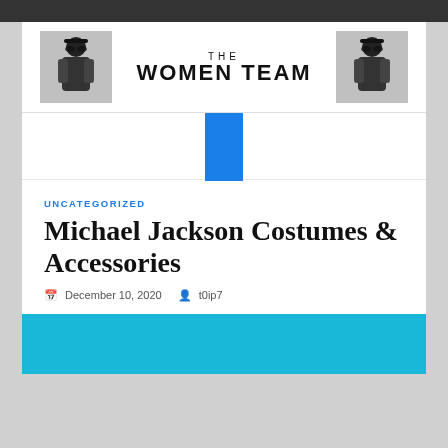[Figure (logo): The Women Team website banner logo with two black-and-white fashion figures on left and right, and text 'THE WOMEN TEAM' in the center]
[Figure (screenshot): Navigation bar area with a blue square/block element centered, partially overlapping below the header]
UNCATEGORIZED
Michael Jackson Costumes & Accessories
December 10, 2020   t0ip7
[Figure (photo): Bottom cyan/turquoise blue image section, partially visible]